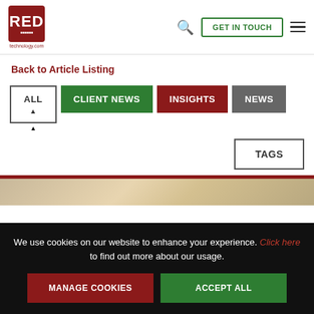RED technology.com | GET IN TOUCH
Back to Article Listing
ALL
CLIENT NEWS
INSIGHTS
NEWS
TAGS
[Figure (photo): Article thumbnail image with food/nature background]
We use cookies on our website to enhance your experience. Click here to find out more about our usage.
MANAGE COOKIES
ACCEPT ALL